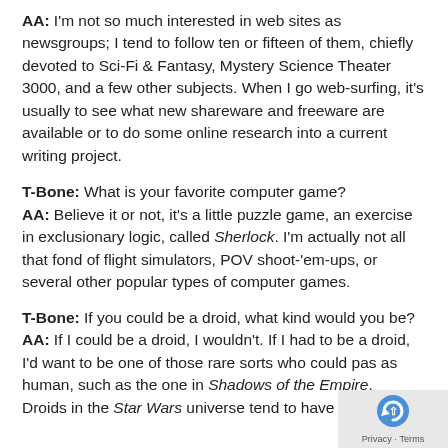AA: I'm not so much interested in web sites as newsgroups; I tend to follow ten or fifteen of them, chiefly devoted to Sci-Fi & Fantasy, Mystery Science Theater 3000, and a few other subjects. When I go web-surfing, it's usually to see what new shareware and freeware are available or to do some online research into a current writing project.
T-Bone: What is your favorite computer game? AA: Believe it or not, it's a little puzzle game, an exercise in exclusionary logic, called Sherlock. I'm actually not all that fond of flight simulators, POV shoot-'em-ups, or several other popular types of computer games.
T-Bone: If you could be a droid, what kind would you be? AA: If I could be a droid, I wouldn't. If I had to be a droid, I'd want to be one of those rare sorts who could pass as human, such as the one in Shadows of the Empire. Droids in the Star Wars universe tend to have pretty